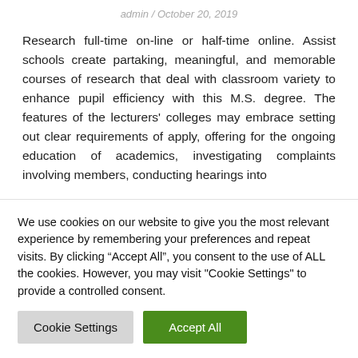admin / October 20, 2019
Research full-time on-line or half-time online. Assist schools create partaking, meaningful, and memorable courses of research that deal with classroom variety to enhance pupil efficiency with this M.S. degree. The features of the lecturers' colleges may embrace setting out clear requirements of apply, offering for the ongoing education of academics, investigating complaints involving members, conducting hearings into
We use cookies on our website to give you the most relevant experience by remembering your preferences and repeat visits. By clicking “Accept All”, you consent to the use of ALL the cookies. However, you may visit "Cookie Settings" to provide a controlled consent.